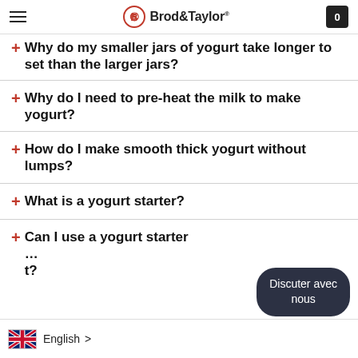Brod & Taylor
+ Why do my smaller jars of yogurt take longer to set than the larger jars?
+ Why do I need to pre-heat the milk to make yogurt?
+ How do I make smooth thick yogurt without lumps?
+ What is a yogurt starter?
+ Can I use a yogurt starter... t?
Discuter avec nous
English >